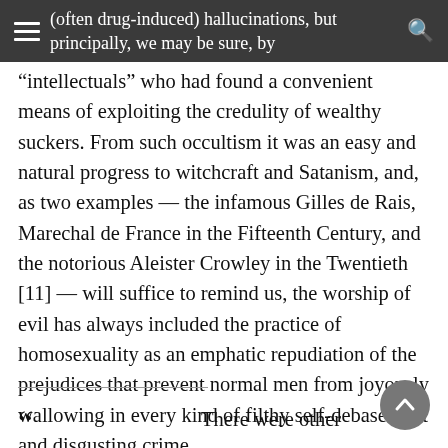(often drug-induced) hallucinations, but principally, we may be sure, by
“intellectuals” who had found a convenient means of exploiting the credulity of wealthy suckers. From such occultism it was an easy and natural progress to witchcraft and Satanism, and, as two examples — the infamous Gilles de Rais, Marechal de France in the Fifteenth Century, and the notorious Aleister Crowley in the Twentieth [11] — will suffice to remind us, the worship of evil has always included the practice of homosexuality as an emphatic repudiation of the prejudices that prevent normal men from joyously wallowing in every kind of filthy self-debasement and disgusting crime.
There were other